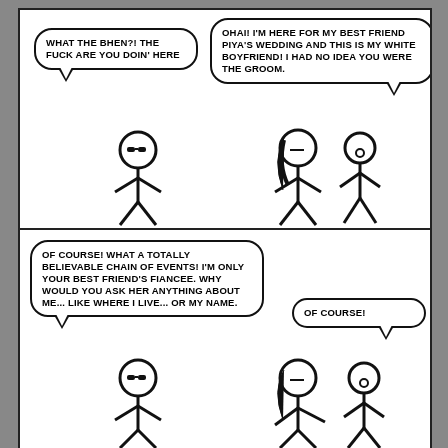[Figure (illustration): Two-panel comic strip with stick figures. Top panel: a stick figure with sunglasses on left says 'WHAT THE BHEN?! THE FUCK ARE YOU DOIN' HERE'. On the right, a stick figure with long hair and a plain stick figure say 'OHAI! I'M HERE FOR MY BEST FRIEND PIYA'S WEDDING AND THIS IS MY WHITE BOYFRIEND! I HAD NO IDEA YOU WERE THE GROOM.' Bottom panel: same sunglasses stick figure on left says 'OF COURSE! WHAT A TOTALLY BELIEVABLE CHAIN OF EVENTS! I'M ONLY YOUR BEST FRIEND'S FIANCEE. WHY WOULD YOU ASK HER ANYTHING ABOUT ME... LIKE WHERE I LIVE... OR MY NAME.' The two figures on the right have a small bubble saying 'OF COURSE!']